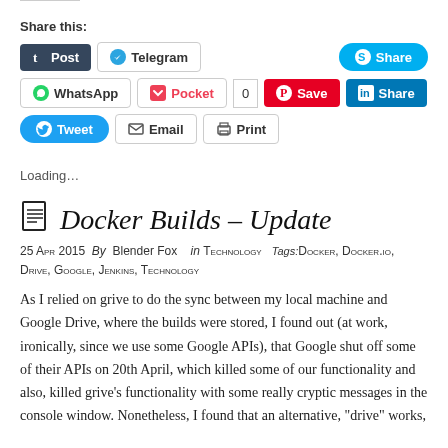Share this:
[Figure (screenshot): Social sharing buttons: Post (Tumblr), Telegram, Share (Skype), WhatsApp, Pocket (0), Save (Pinterest), Share (LinkedIn), Tweet (Twitter), Email, Print]
Loading...
Docker Builds – Update
25 Apr 2015  By  Blender Fox   in Technology  Tags: Docker, Docker.io, Drive, Google, Jenkins, Technology
As I relied on grive to do the sync between my local machine and Google Drive, where the builds were stored, I found out (at work, ironically, since we use some Google APIs), that Google shut off some of their APIs on 20th April, which killed some of our functionality and also, killed grive's functionality with some really cryptic messages in the console window. Nonetheless, I found that an alternative, "drive" works,